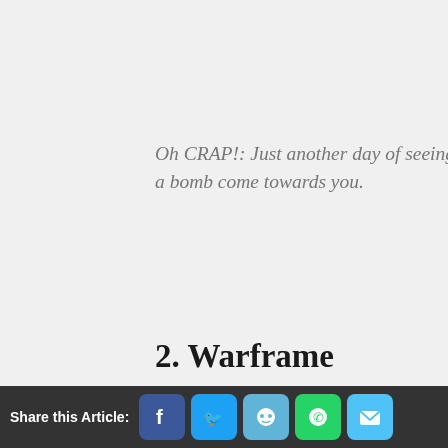Oh CRAP!: Just another day of seeing a bomb come towards you.
2. Warframe
[Figure (screenshot): Warframe Episode 1 video thumbnail showing a Warframe character with a play button overlay and Warframe logo at bottom]
Share this Article: [Facebook] [Twitter] [Reddit] [WhatsApp] [Email]